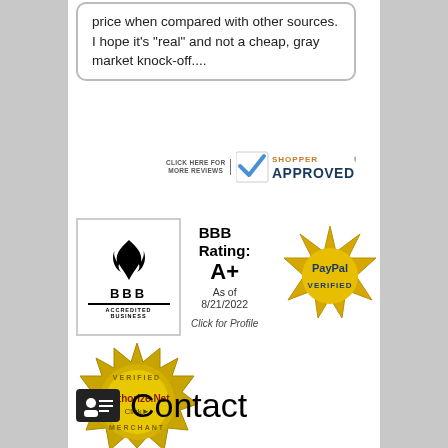price when compared with other sources. I hope it's "real" and not a cheap, gray market knock-off....
[Figure (logo): Shopper Approved badge with checkmark logo and text 'CLICK HERE FOR MORE REVIEWS']
[Figure (logo): BBB Accredited Business badge with flame logo, BBB Rating: A+ as of 8/21/2022, Click for Profile]
[Figure (logo): PayPal Verified gold seal badge]
[Figure (logo): Authorize.Net Verified Merchant badge with gold seal]
[Figure (logo): Comodo Secure badge with padlock and red C logo]
Contact